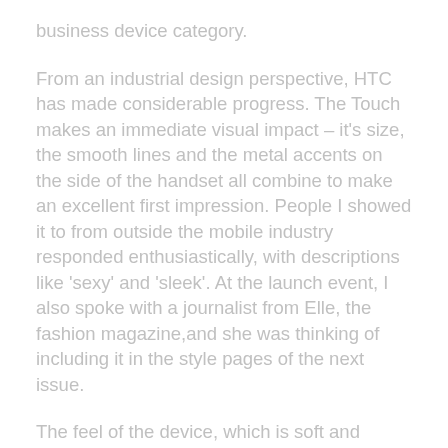business device category.
From an industrial design perspective, HTC has made considerable progress. The Touch makes an immediate visual impact – it's size, the smooth lines and the metal accents on the side of the handset all combine to make an excellent first impression. People I showed it to from outside the mobile industry responded enthusiastically, with descriptions like 'sexy' and 'sleek'. At the launch event, I also spoke with a journalist from Elle, the fashion magazine,and she was thinking of including it in the style pages of the next issue.
The feel of the device, which is soft and matte, was one of the first things people mentioned upon picking it up. Users spent a lot of time just running their fingers over the lightly textured surface and turning it over in their hands.